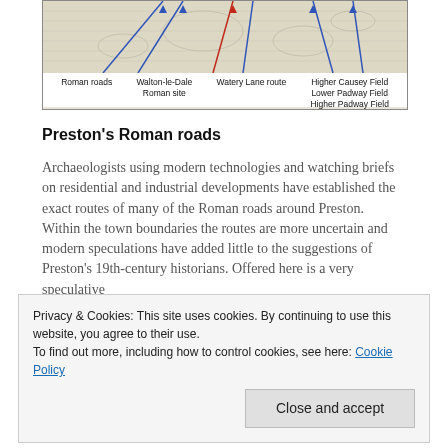[Figure (map): A historical map of Preston showing Roman roads (blue lines), the Walton-le-Dale Roman site, the Watery Lane route (red line), and field names: Higher Causey Field, Lower Padway Field, Higher Padway Field. Legend labels below the map image.]
Preston's Roman roads
Archaeologists using modern technologies and watching briefs on residential and industrial developments have established the exact routes of many of the Roman roads around Preston. Within the town boundaries the routes are more uncertain and modern speculations have added little to the suggestions of Preston's 19th-century historians. Offered here is a very speculative
Privacy & Cookies: This site uses cookies. By continuing to use this website, you agree to their use.
To find out more, including how to control cookies, see here: Cookie Policy